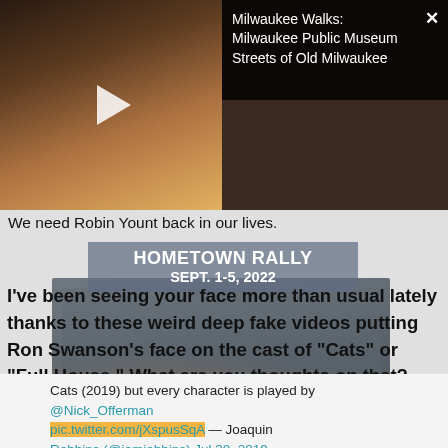[Figure (screenshot): Video thumbnail showing a man in period costume (white shirt, dark vest, bow tie) in an interior setting. Right side shows dark overlay with text 'Milwaukee Walks: Milwaukee Public Museum Streets of Old Milwaukee' and a close/X button.]
We need Robin Yount back in our lives.
HOMETOWN RALLY
SEPT. 1-5, 2022
[Figure (photo): Background street scene image with motorcycles and storefront lighting, partially visible behind text overlay.]
I've been seeing your face more than usual lately thanks to these weird deep fake videos putting Ron Swanson's face on the cast of "Cats" or "Full House." What are you thoughts on that? Creepy or the ultimate sign of respect?
Cats (2019) but every character is played by @Nick_Offerman
pic.twitter.com/jXspusSqA — Joaquin
Robbins (@iamjobbins) Jul 30, 2019